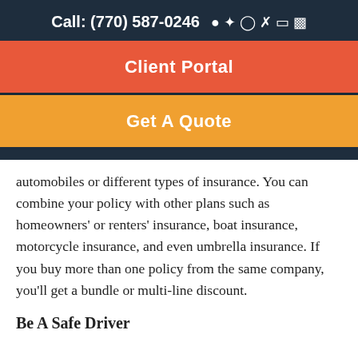Call: (770) 587-0246
Client Portal
Get A Quote
automobiles or different types of insurance. You can combine your policy with other plans such as homeowners' or renters' insurance, boat insurance, motorcycle insurance, and even umbrella insurance. If you buy more than one policy from the same company, you'll get a bundle or multi-line discount.
Be A Safe Driver